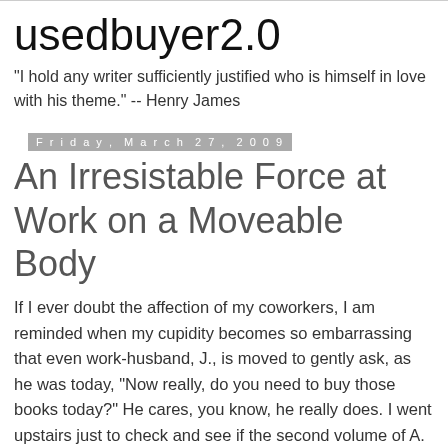usedbuyer2.0
"I hold any writer sufficiently justified who is himself in love with his theme." -- Henry James
Friday, March 27, 2009
An Irresistable Force at Work on a Moveable Body
If I ever doubt the affection of my coworkers, I am reminded when my cupidity becomes so embarrassing that even work-husband, J., is moved to gently ask, as he was today, "Now really, do you need to buy those books today?" He cares, you know, he really does. I went upstairs just to check and see if the second volume of A. J. Liebling in The Library of America, promised for months and inexplicably delayed, had indeed finally arrived. It had. The stack I brought down from the hardcover classics area though included not just the Liebling, but three other new volumes in the series as well